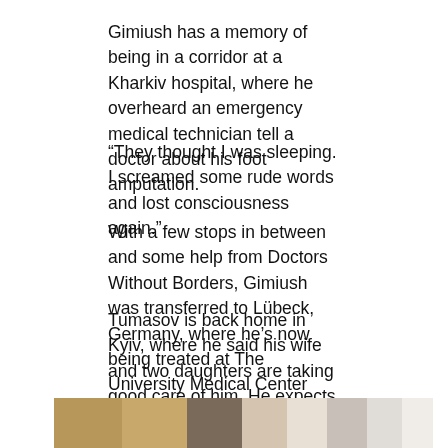Gimiush has a memory of being in a corridor at a Kharkiv hospital, where he overheard an emergency medical technician tell a doctor about his foot amputation.
“They thought I was sleeping. I screamed some rude words and lost consciousness again.”
With a few stops in between and some help from Doctors Without Borders, Gimiush was transferred to Lübeck, Germany, where he’s now being treated at The University Medical Center Schleswig-Holstein.
Tumasov is back home in Kyiv, where he said his wife and two daughters are taking good care of him. He expects at least three more surgeries in addition to the six he’s already undergone — and eight to nine months of rehabilitation to follow.
[Figure (photo): Partial view of a photograph showing people, cropped at the bottom of the page]